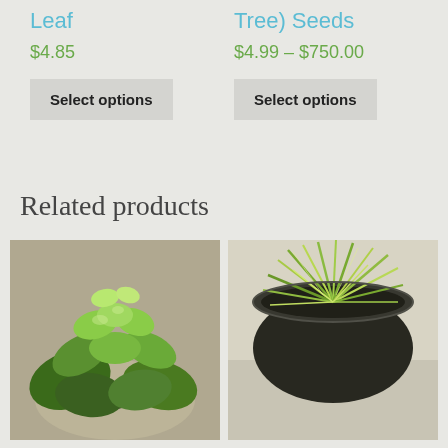Leaf
$4.85
Select options
Tree) Seeds
$4.99 – $750.00
Select options
Related products
[Figure (photo): A green basil or similar herb plant viewed from above, with multiple bright green leaves, in a small pot on a light background.]
[Figure (photo): A potted grass-like plant with thin, spiky green and white variegated blades, viewed from above in a dark round pot on a light concrete surface.]